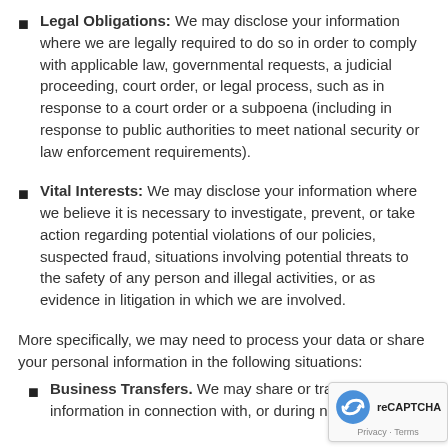Legal Obligations: We may disclose your information where we are legally required to do so in order to comply with applicable law, governmental requests, a judicial proceeding, court order, or legal process, such as in response to a court order or a subpoena (including in response to public authorities to meet national security or law enforcement requirements).
Vital Interests: We may disclose your information where we believe it is necessary to investigate, prevent, or take action regarding potential violations of our policies, suspected fraud, situations involving potential threats to the safety of any person and illegal activities, or as evidence in litigation in which we are involved.
More specifically, we may need to process your data or share your personal information in the following situations:
Business Transfers. We may share or transfer your information in connection with, or during negotiations...